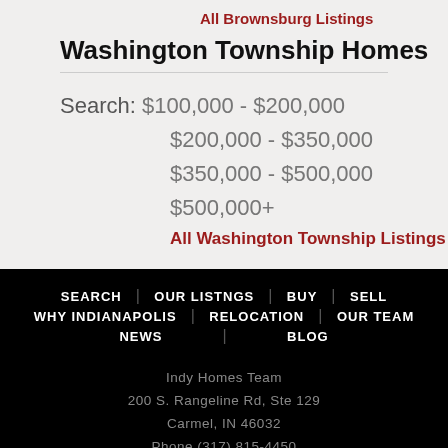All Brownsburg Listings
Washington Township Homes
Search: $100,000 - $200,000
$200,000 - $350,000
$350,000 - $500,000
$500,000+
All Washington Township Listings
SEARCH | OUR LISTNGS | BUY | SELL
WHY INDIANAPOLIS | RELOCATION | OUR TEAM
NEWS | BLOG
Indy Homes Team
200 S. Rangeline Rd, Ste 129
Carmel, IN 46032
Phone (317) 815-4450